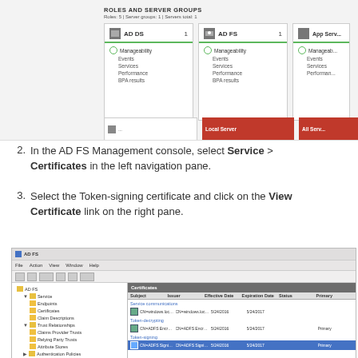[Figure (screenshot): Server Manager screenshot showing Roles and Server Groups panel with AD DS, AD FS, and App Server cards]
2. In the AD FS Management console, select Service > Certificates in the left navigation pane.
3. Select the Token-signing certificate and click on the View Certificate link on the right pane.
[Figure (screenshot): AD FS Management console showing Certificates panel with Service communications, Token-decrypting, and Token-signing sections. The CN=ADFS Signing entry is selected (highlighted in blue).]